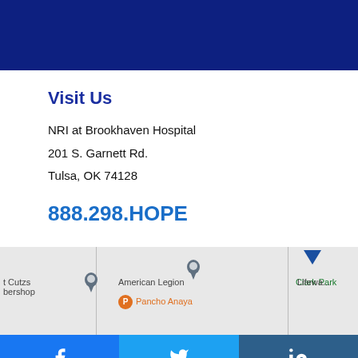Visit Us
NRI at Brookhaven Hospital
201 S. Garnett Rd.
Tulsa, OK 74128
888.298.HOPE
[Figure (map): Google Maps snippet showing area around NRI at Brookhaven Hospital, Tulsa. Visible landmarks include American Legion, Clark Park, Pancho Anaya, and a barbershop. Map pins and labels visible.]
[Figure (other): Social media share buttons: Facebook (blue), Twitter (light blue), LinkedIn (dark blue)]